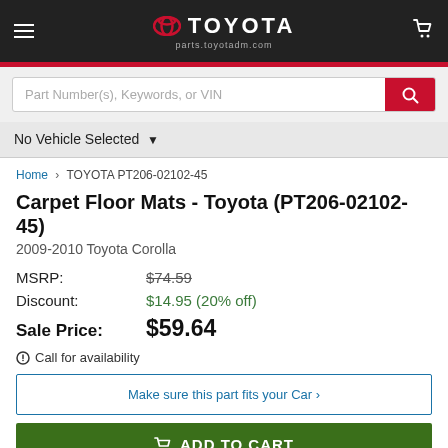TOYOTA parts.toyotadm.com
Part Number(s), Keywords, or VIN
No Vehicle Selected
Home > TOYOTA PT206-02102-45
Carpet Floor Mats - Toyota (PT206-02102-45)
2009-2010 Toyota Corolla
MSRP: $74.59
Discount: $14.95 (20% off)
Sale Price: $59.64
Call for availability
Make sure this part fits your Car >
ADD TO CART